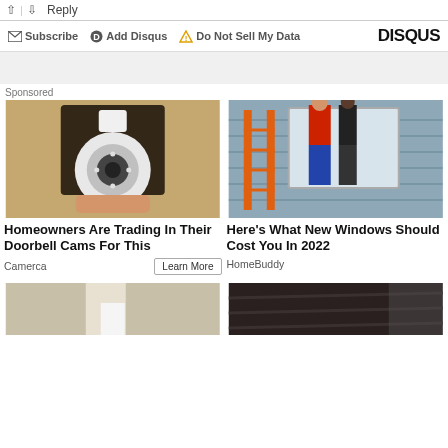↑ | ↓ Reply
✉ Subscribe  ⓓ Add Disqus  ⚠ Do Not Sell My Data  DISQUS
Sponsored
[Figure (photo): A security camera shaped like a light bulb installed in an outdoor wall lantern fixture on a textured stucco wall.]
Homeowners Are Trading In Their Doorbell Cams For This
Camerca
Learn More
[Figure (photo): Workers on an orange ladder installing a new window on the exterior of a house with gray siding.]
Here's What New Windows Should Cost You In 2022
HomeBuddy
[Figure (photo): Partial view of bottom-row sponsored content images — left shows a person's lower body, right shows a dark textured surface.]